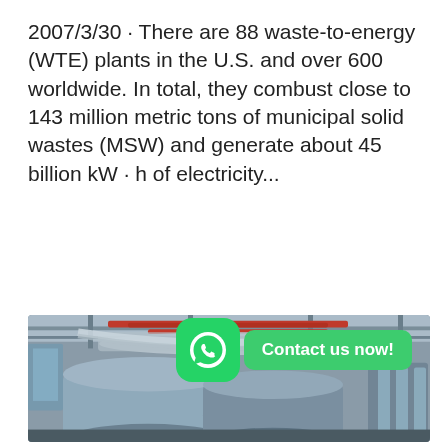2007/3/30 · There are 88 waste-to-energy (WTE) plants in the U.S. and over 600 worldwide. In total, they combust close to 143 million metric tons of municipal solid wastes (MSW) and generate about 45 billion kW · h of electricity...
Get Price
[Figure (photo): Industrial waste-to-energy plant interior showing large silver cylindrical boilers/tanks, red and silver overhead pipes and ducts, and plant equipment. A WhatsApp icon and 'Contact us now!' green button overlay appear in the lower-right area of the image.]